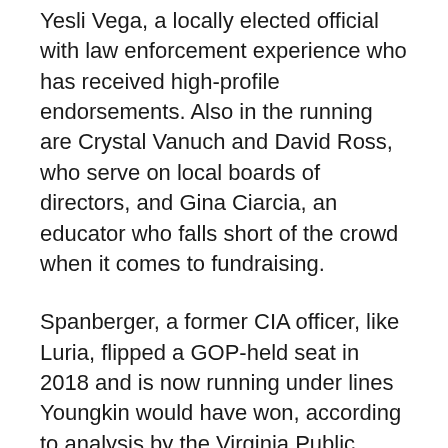Yesli Vega, a locally elected official with law enforcement experience who has received high-profile endorsements. Also in the running are Crystal Vanuch and David Ross, who serve on local boards of directors, and Gina Ciarcia, an educator who falls short of the crowd when it comes to fundraising.
Spanberger, a former CIA officer, like Luria, flipped a GOP-held seat in 2018 and is now running under lines Youngkin would have won, according to analysis by the Virginia Public Access Project.
Spanberger said in a statement that she is focused on serving the needs of her